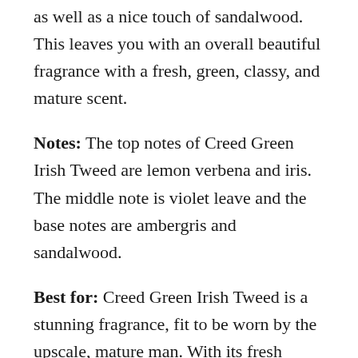as well as a nice touch of sandalwood. This leaves you with an overall beautiful fragrance with a fresh, green, classy, and mature scent.
Notes: The top notes of Creed Green Irish Tweed are lemon verbena and iris. The middle note is violet leave and the base notes are ambergris and sandalwood.
Best for: Creed Green Irish Tweed is a stunning fragrance, fit to be worn by the upscale, mature man. With its fresh scent, this fragrance is perfect for the warmer months, where it will provide you with a refreshing and classy feel. Due to the classiness that this fragrance portrays, it's perfect for any formal